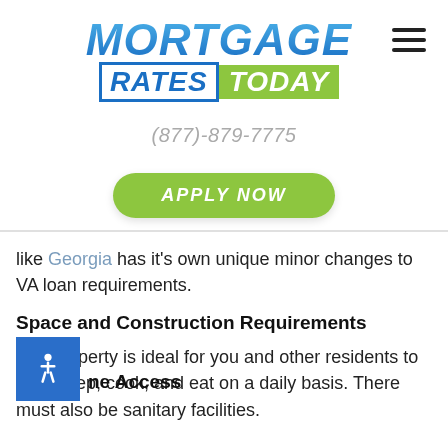[Figure (logo): Mortgage Rates Today logo with blue gradient MORTGAGE text and green TODAY badge]
(877)-879-7775
APPLY NOW
like Georgia has it's own unique minor changes to VA loan requirements.
Space and Construction Requirements
The property is ideal for you and other residents to live, sleep, cook, and eat on a daily basis. There must also be sanitary facilities.
ne Access